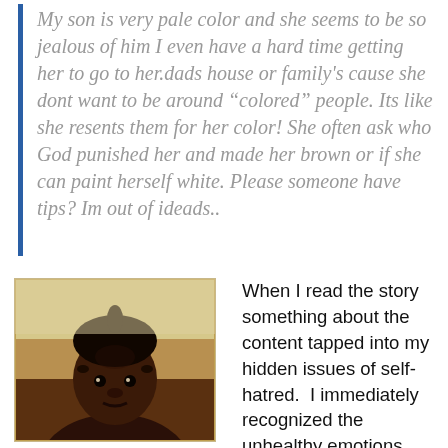My son is very pale color and she seems to be so jealous of him I even have a hard time getting her to go to her.dads house or family's cause she dont want to be around “colored” people. Its like she resents them for her color! She often ask who God punished her and made her brown or if she can paint herself white. Please someone have tips? Im out of ideads..
[Figure (photo): Vintage-style photograph of a young dark-skinned child with hair tied up in a small tuft on top, looking directly at the camera with a neutral expression.]
When I read the story something about the content tapped into my hidden issues of self-hatred.  I immediately recognized the unhealthy emotions